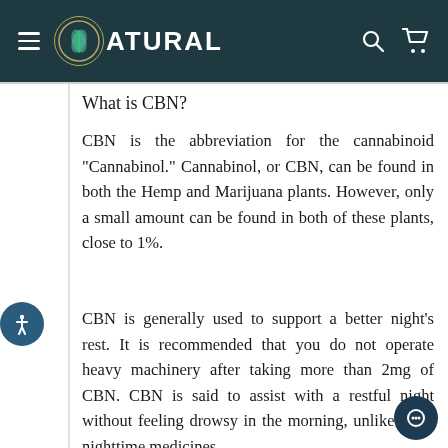ZATURAL
What is CBN?
CBN is the abbreviation for the cannabinoid "Cannabinol." Cannabinol, or CBN, can be found in both the Hemp and Marijuana plants. However, only a small amount can be found in both of these plants, close to 1%.
CBN is generally used to support a better night’s rest. It is recommended that you do not operate heavy machinery after taking more than 2mg of CBN. CBN is said to assist with a restful night without feeling drowsy in the morning, unlike other nighttime medicines. CBN can also assist with the reduction of...